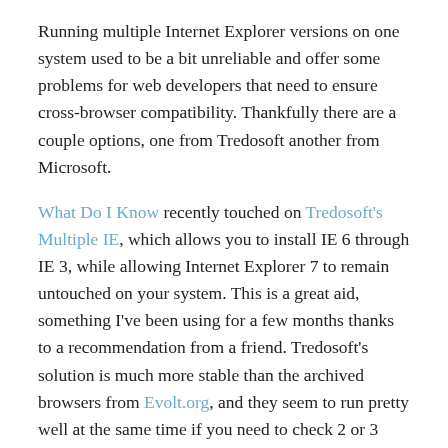Running multiple Internet Explorer versions on one system used to be a bit unreliable and offer some problems for web developers that need to ensure cross-browser compatibility. Thankfully there are a couple options, one from Tredosoft another from Microsoft.
What Do I Know recently touched on Tredosoft's Multiple IE, which allows you to install IE 6 through IE 3, while allowing Internet Explorer 7 to remain untouched on your system. This is a great aid, something I've been using for a few months thanks to a recommendation from a friend. Tredosoft's solution is much more stable than the archived browsers from Evolt.org, and they seem to run pretty well at the same time if you need to check 2 or 3 browsers at once. I haven't tried this with Parallels, but I've heard it runs well this way. I do know that this isn't compatible with Vista yet, which would be nice. I have noticed a slight tendency for IE6 to crash and/or incorrectly render